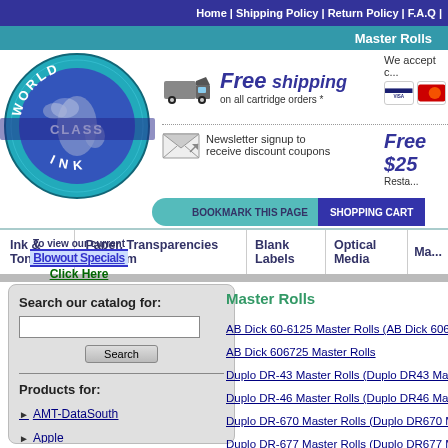Home | Shipping Policy | Return Policy | F.A.Q |
Master Rolls
[Figure (logo): World Class Ink logo — circular globe with text WORLD CLASS INK around it]
To view our current Blowout Specials Click Here
Free shipping on all cartridge orders *
We accept c...
Newsletter signup to receive discount coupons
Free $25 Resta...
BOOKMARK THIS PAGE
SHOPPING CART
Ink & Toner
Paper, Transparencies and Film
Blank Labels
Optical Media
Ma...
Search our catalog for:
Products for:
AMT-DataSouth
Apple
Brother
Canon
Master Rolls
AB Dick 60-6125 Master Rolls (AB Dick 606125 M...
AB Dick 606725 Master Rolls
Duplo DR-43 Master Rolls (Duplo DR43 Masters)
Duplo DR-46 Master Rolls (Duplo DR46 Masters)
Duplo DR-670 Master Rolls (Duplo DR670 Masters...
Duplo DR-677 Master Rolls (Duplo DR677 Masters...
Duplo DR-835 Master Rolls (Duplo DR835 Masters...